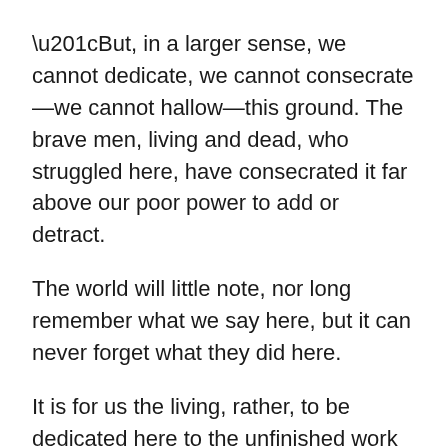“But, in a larger sense, we cannot dedicate, we cannot consecrate—we cannot hallow—this ground. The brave men, living and dead, who struggled here, have consecrated it far above our poor power to add or detract.
The world will little note, nor long remember what we say here, but it can never forget what they did here.
It is for us the living, rather, to be dedicated here to the unfinished work which they who fought here have thus far so nobly advanced. It is rather for us to be here dedicated to the great task remaining before us—that from these honored dead we take increased devotion to that cause for which they here gave the last full measure of devotion—that we here highly resolve that these dead shall not have died in vain—that this nation, under God, shall have a new birth of freedom, and that government of the